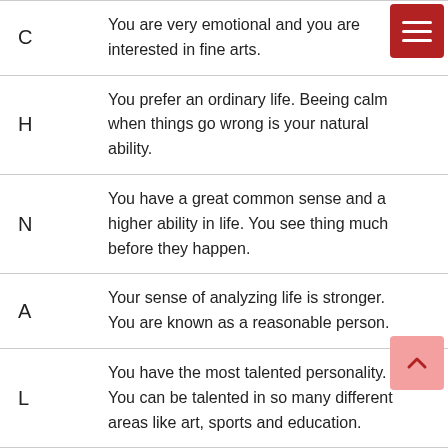| Letter | Description |
| --- | --- |
| C | You are very emotional and you are interested in fine arts. |
| H | You prefer an ordinary life. Beeing calm when things go wrong is your natural ability. |
| N | You have a great common sense and a higher ability in life. You see thing much before they happen. |
| A | Your sense of analyzing life is stronger. You are known as a reasonable person. |
| L | You have the most talented personality. You can be talented in so many different areas like art, sports and education. |